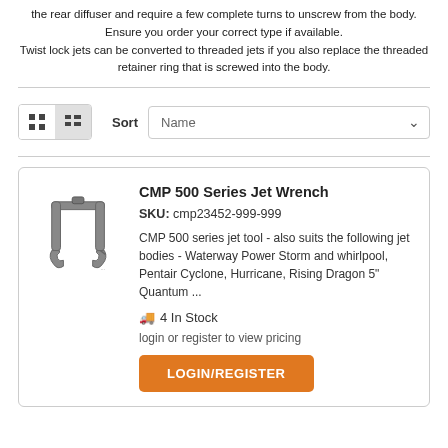the rear diffuser and require a few complete turns to unscrew from the body. Ensure you order your correct type if available.
Twist lock jets can be converted to threaded jets if you also replace the threaded retainer ring that is screwed into the body.
[Figure (screenshot): Sort bar with grid/list view toggle buttons and a Name dropdown sort selector]
| CMP 500 Series Jet Wrench | SKU: cmp23452-999-999 | CMP 500 series jet tool - also suits the following jet bodies - Waterway Power Storm and whirlpool, Pentair Cyclone, Hurricane, Rising Dragon 5" Quantum ... | 4 In Stock | login or register to view pricing | LOGIN/REGISTER |